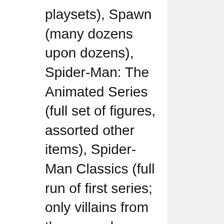playsets), Spawn (many dozens upon dozens), Spider-Man: The Animated Series (full set of figures, assorted other items), Spider-Man Classics (full run of first series; only villains from the second series), Star Trek: The Next Generation (Galoob), Star Trek: The Next Generation (Playmates; assortments 1-5 plus 1701 series; with a few playsets), Star Trek (full Mego series), Super Powers (full collection), Superman: The Animated Series (figures only), Talespin (figures only), Teenage Mutant Ninja Turtles (first four years+; all figures, select playsets